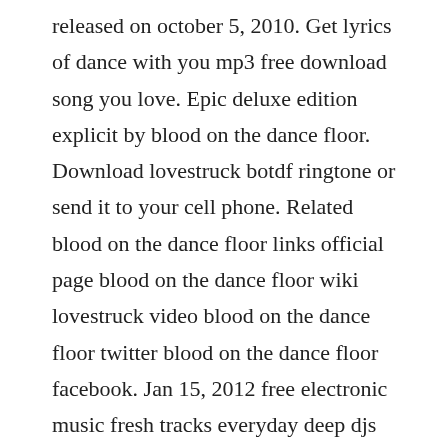released on october 5, 2010. Get lyrics of dance with you mp3 free download song you love. Epic deluxe edition explicit by blood on the dance floor. Download lovestruck botdf ringtone or send it to your cell phone. Related blood on the dance floor links official page blood on the dance floor wiki lovestruck video blood on the dance floor twitter blood on the dance floor facebook. Jan 15, 2012 free electronic music fresh tracks everyday deep djs chart electro exclusive hot track house minimal progressive tech techno trance download free electronic music. Create a